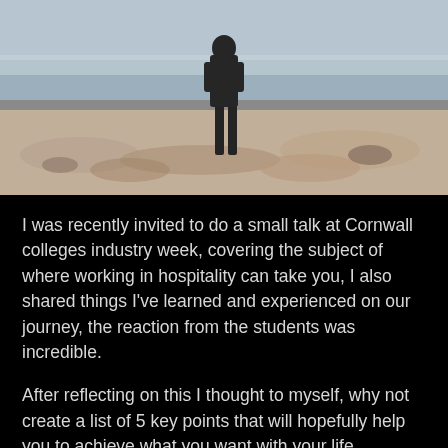[Figure (photo): Blurred photo of a person standing on rocky ground near a beach or coastal area, viewed from behind, wearing dark clothing. The background shows water and a pale sky.]
I was recently invited to do a small talk at Cornwall colleges industry week, covering the subject of where working in hospitality can take you, I also shared things I've learned and experienced on our journey, the reaction from the students was incredible.
After reflecting on this I thought to myself, why not create a list of 5 key points that will hopefully help you to achieve what you want with your life...